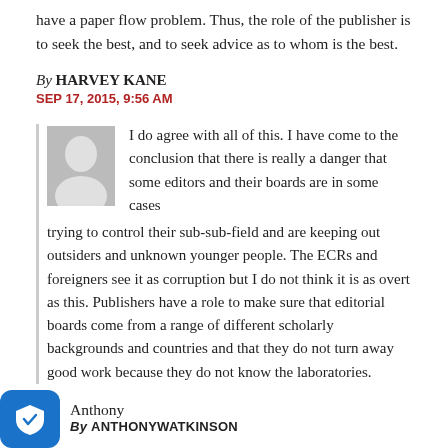have a paper flow problem. Thus, the role of the publisher is to seek the best, and to seek advice as to whom is the best.
By HARVEY KANE
SEP 17, 2015, 9:56 AM
I do agree with all of this. I have come to the conclusion that there is really a danger that some editors and their boards are in some cases trying to control their sub-sub-field and are keeping out outsiders and unknown younger people. The ECRs and foreigners see it as corruption but I do not think it is as overt as this. Publishers have a role to make sure that editorial boards come from a range of different scholarly backgrounds and countries and that they do not turn away good work because they do not know the laboratories.
Anthony
By ANTHONYWATKINSON